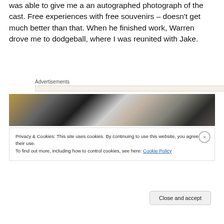was able to give me a an autographed photograph of the cast. Free experiences with free souvenirs – doesn't get much better than that. When he finished work, Warren drove me to dodgeball, where I was reunited with Jake.
Advertisements
[Figure (photo): A dark industrial or stage scene with bright light flare, showing machinery or equipment in silhouette]
Privacy & Cookies: This site uses cookies. By continuing to use this website, you agree to their use.
To find out more, including how to control cookies, see here: Cookie Policy
Close and accept